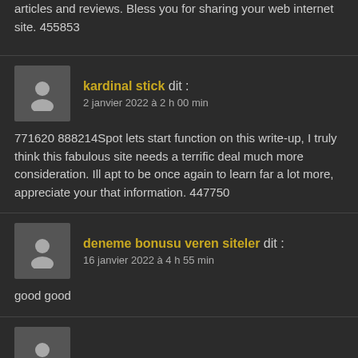articles and reviews. Bless you for sharing your web internet site. 455853
kardinal stick dit : 2 janvier 2022 à 2 h 00 min
771620 888214Spot lets start function on this write-up, I truly think this fabulous site needs a terrific deal much more consideration. Ill apt to be once again to learn far a lot more, appreciate your that information. 447750
deneme bonusu veren siteler dit : 16 janvier 2022 à 4 h 55 min
good good